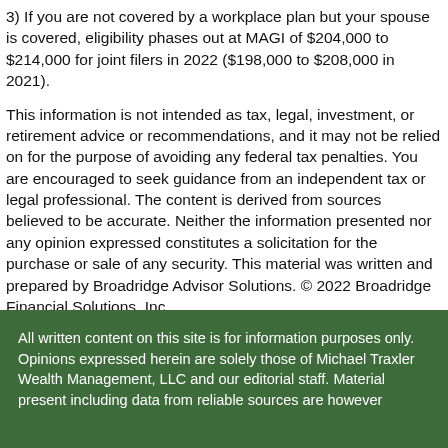3) If you are not covered by a workplace plan but your spouse is covered, eligibility phases out at MAGI of $204,000 to $214,000 for joint filers in 2022 ($198,000 to $208,000 in 2021).
This information is not intended as tax, legal, investment, or retirement advice or recommendations, and it may not be relied on for the purpose of avoiding any federal tax penalties. You are encouraged to seek guidance from an independent tax or legal professional. The content is derived from sources believed to be accurate. Neither the information presented nor any opinion expressed constitutes a solicitation for the purchase or sale of any security. This material was written and prepared by Broadridge Advisor Solutions. © 2022 Broadridge Financial Solutions, Inc.
All written content on this site is for information purposes only. Opinions expressed herein are solely those of Michael Traxler Wealth Management, LLC and our editorial staff. Material present including data from reliable sources are however...